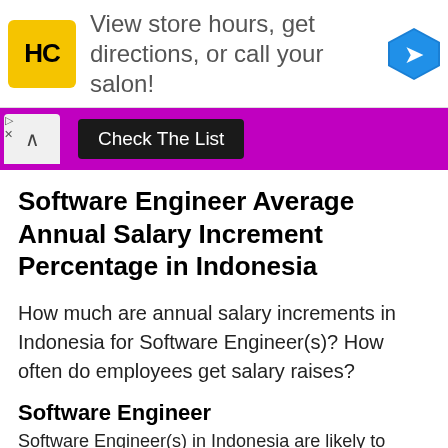[Figure (other): Advertisement banner with HC (Hair Club) logo, text 'View store hours, get directions, or call your salon!', and a blue navigation arrow icon on the right.]
[Figure (other): Purple UI bar with an up-arrow collapse button on the left and a dark 'Check The List' button in the center.]
Software Engineer Average Annual Salary Increment Percentage in Indonesia
How much are annual salary increments in Indonesia for Software Engineer(s)? How often do employees get salary raises?
Software Engineer
Software Engineer(s) in Indonesia are likely to observe